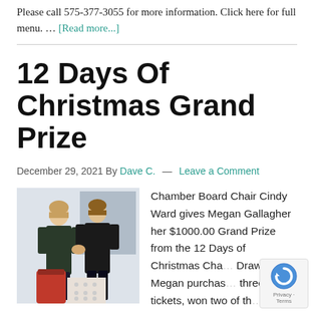Please call 575-377-3055 for more information. Click here for full menu. … [Read more...]
12 Days Of Christmas Grand Prize
December 29, 2021 By Dave C. — Leave a Comment
[Figure (photo): Two women standing in a store, one handing something to the other. A red container is visible in the foreground.]
Chamber Board Chair Cindy Ward gives Megan Gallagher her $1000.00 Grand Prize from the 12 Days of Christmas Cha... Drawings! Megan purchas... three tickets, won two of th...